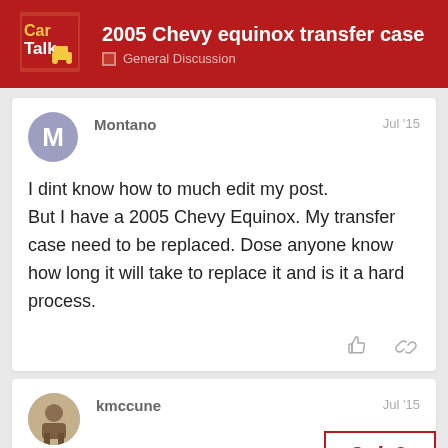2005 Chevy equinox transfer case — General Discussion
Montano
Jul '15
I dint know how to much edit my post. But I have a 2005 Chevy Equinox. My transfer case need to be replaced. Dose anyone know how long it will take to replace it and is it a hard process.
kmccune
Jul '15
If the replacement is availible,a comp
2 / 9